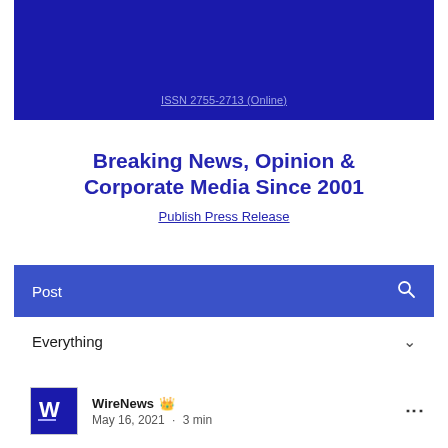[Figure (other): Dark blue banner/header with ISSN link]
ISSN 2755-2713 (Online)
Breaking News, Opinion & Corporate Media Since 2001
Publish Press Release
Post
Everything
WireNews  May 16, 2021 · 3 min